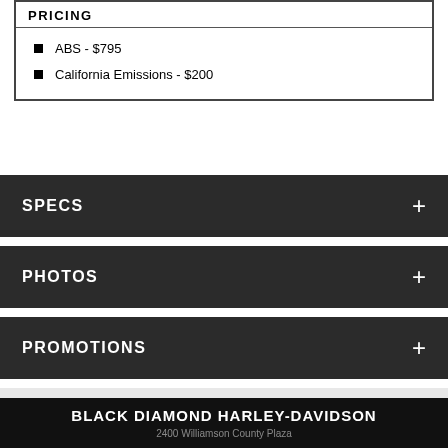PRICING
ABS - $795
California Emissions - $200
SPECS
PHOTOS
PROMOTIONS
BLACK DIAMOND HARLEY-DAVIDSON
2400 Williamson County Plaza